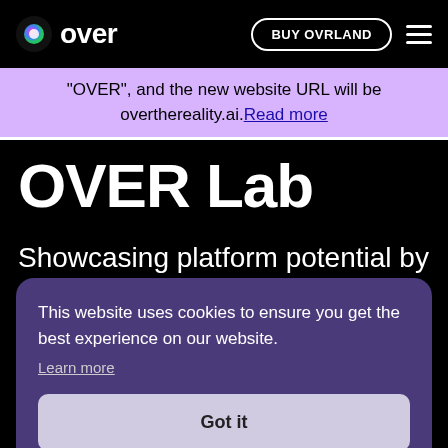over — BUY OVRLAND ☰
"OVER", and the new website URL will be overthereality.ai. Read more
OVER Lab
Showcasing platform potential by deploying...
This website uses cookies to ensure you get the best experience on our website. Learn more
Got it